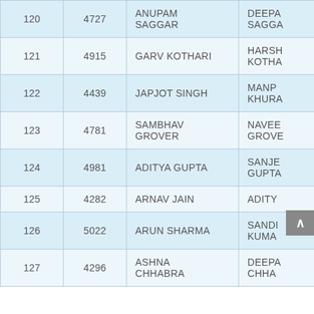|  |  | CANDIDATE NAME | PARENT/GUARDIAN NAME |
| --- | --- | --- | --- |
| 120 | 4727 | ANUPAM SAGGAR | DEEPA SAGGAR |
| 121 | 4915 | GARV KOTHARI | HARSH KOTHARI |
| 122 | 4439 | JAPJOT SINGH | MANP KHURA |
| 123 | 4781 | SAMBHAV GROVER | NAVEE GROVE |
| 124 | 4981 | ADITYA GUPTA | SANJE GUPTA |
| 125 | 4282 | ARNAV JAIN | ADITY |
| 126 | 5022 | ARUN SHARMA | SANDI KUMA |
| 127 | 4296 | ASHNA CHHABRA | DEEPA CHHA |